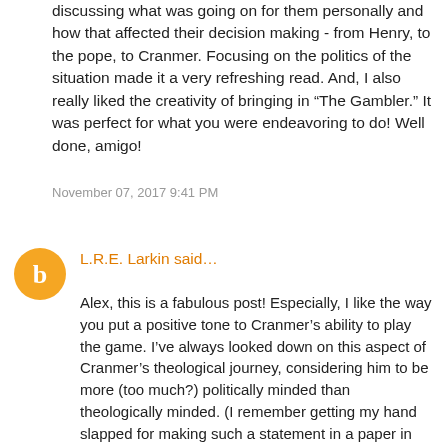discussing what was going on for them personally and how that affected their decision making - from Henry, to the pope, to Cranmer. Focusing on the politics of the situation made it a very refreshing read. And, I also really liked the creativity of bringing in “The Gambler.” It was perfect for what you were endeavoring to do! Well done, amigo!
November 07, 2017 9:41 PM
L.R.E. Larkin said…
Alex, this is a fabulous post! Especially, I like the way you put a positive tone to Cranmer's ability to play the game. I've always looked down on this aspect of Cranmer's theological journey, considering him to be more (too much?) politically minded than theologically minded. (I remember getting my hand slapped for making such a statement in a paper in seminary, but, then again, I got my hand slapped for defending Bultmann in a lecture by the same professor, so not sure that really says anything :) That said, the...